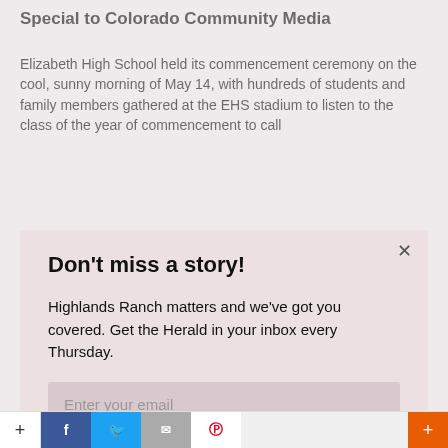Special to Colorado Community Media
Elizabeth High School held its commencement ceremony on the cool, sunny morning of May 14, with hundreds of students and family members gathered at the EHS stadium [to listen to the class of the year of commencement to call]
Don't miss a story!
Highlands Ranch matters and we've got you covered. Get the Herald in your inbox every Thursday.
Enter your email
Sign up